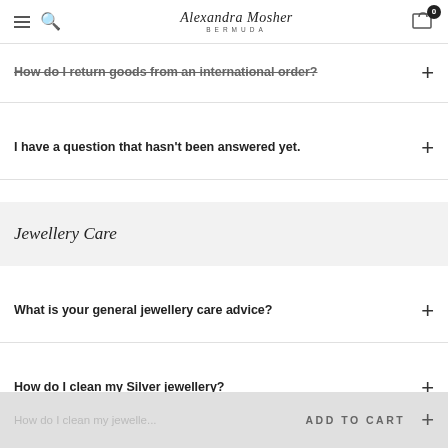Alexandra Mosher Studio Jewellery BERMUDA — navigation header with menu, search, logo, cart (0)
How do I return goods from an international order?
I have a question that hasn't been answered yet.
Jewellery Care
What is your general jewellery care advice?
How do I clean my Silver jewellery?
How do I clean my jewelle...
ADD TO CART